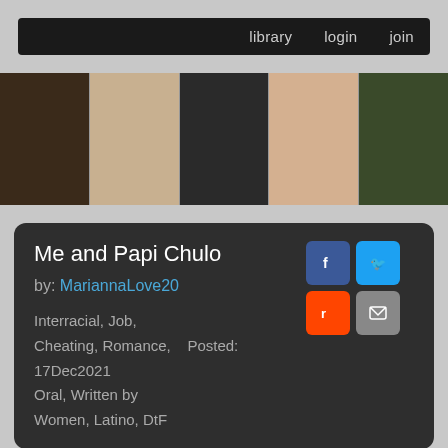library   login   join
[Figure (photo): Strip of five photos showing men]
Me and Papi Chulo
by: MariannaLove20
Interracial, Job, Cheating, Romance, Oral, Written by Women, Latino, DtF
Posted: 17Dec2021